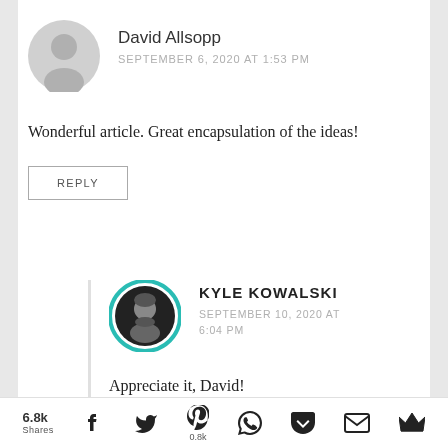David Allsopp
SEPTEMBER 6, 2020 AT 1:53 PM
Wonderful article. Great encapsulation of the ideas!
REPLY
KYLE KOWALSKI
SEPTEMBER 10, 2020 AT 6:04 PM
Appreciate it, David!
REPLY
6.8k Shares